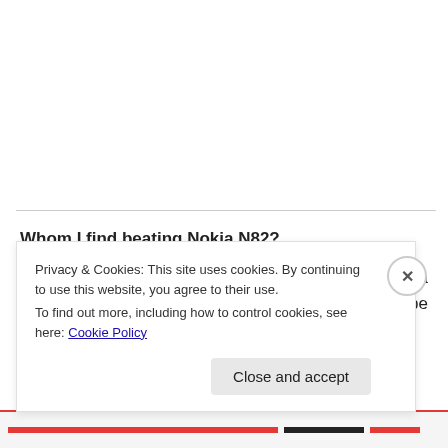Whom I find beating Nokia N82?
For people preferring non-touch phones, I think Nokia N82 been a winner from a longer while and will be loveable till Nokia doesn't come up with
Privacy & Cookies: This site uses cookies. By continuing to use this website, you agree to their use.
To find out more, including how to control cookies, see here: Cookie Policy